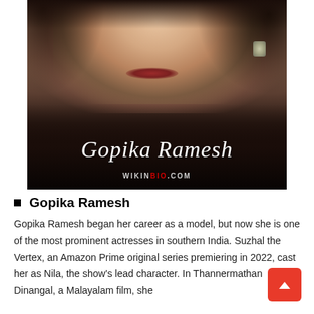[Figure (photo): Photo of Gopika Ramesh – close-up portrait of a woman with jewelry, dark background fade, cursive name overlay 'Gopika Ramesh' and watermark 'WIKINBIO.COM']
Gopika Ramesh
Gopika Ramesh began her career as a model, but now she is one of the most prominent actresses in southern India. Suzhal the Vertex, an Amazon Prime original series premiering in 2022, cast her as Nila, the show's lead character. In Thannermathan Dinangal, a Malayalam film, she